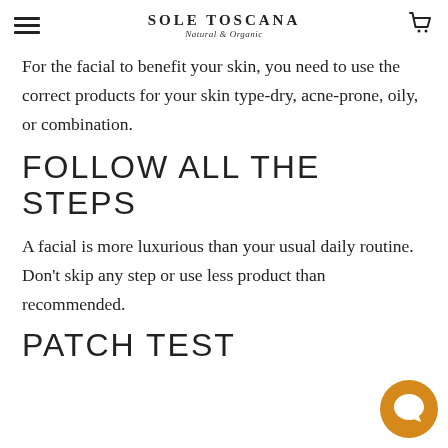SOLE TOSCANA Natural & Organic
For the facial to benefit your skin, you need to use the correct products for your skin type-dry, acne-prone, oily, or combination.
FOLLOW ALL THE STEPS
A facial is more luxurious than your usual daily routine. Don't skip any step or use less product than recommended.
PATCH TEST